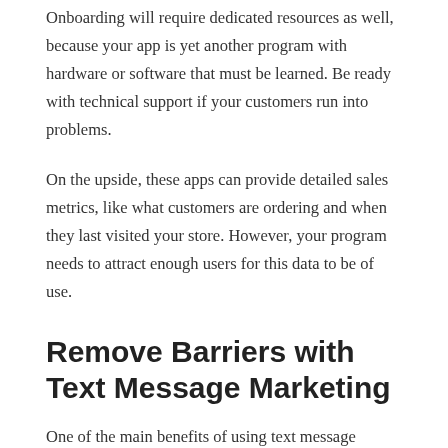Onboarding will require dedicated resources as well, because your app is yet another program with hardware or software that must be learned. Be ready with technical support if your customers run into problems.
On the upside, these apps can provide detailed sales metrics, like what customers are ordering and when they last visited your store. However, your program needs to attract enough users for this data to be of use.
Remove Barriers with Text Message Marketing
One of the main benefits of using text message marketing is that every smartphone has text messaging integrated